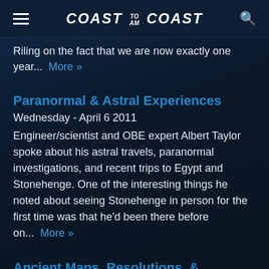COAST TO AM COAST
Riling on the fact that we are now exactly one year...  More »
Paranormal & Astral Experiences
Wednesday - April 6 2011
Engineer/scientist and OBE expert Albert Taylor spoke about his astral travels, paranormal investigations, and recent trips to Egypt and Stonehenge. One of the interesting things he noted about seeing Stonehenge in person for the first time was that he'd been there before on...  More »
Ancient Maps, Resolutions, & Implants
Wednesday - January 20 2010
Appearing in the first hour, researcher Charlotte Harris Rees discussed ancient Asian maps that show the coastlines of